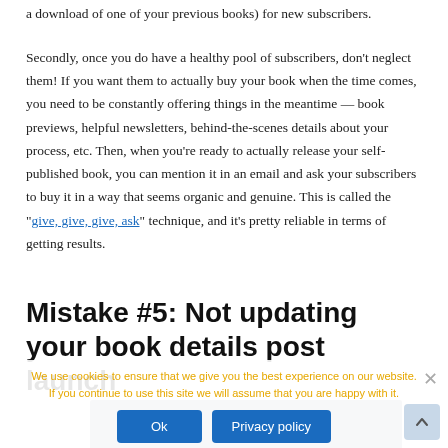a download of one of your previous books) for new subscribers.
Secondly, once you do have a healthy pool of subscribers, don't neglect them! If you want them to actually buy your book when the time comes, you need to be constantly offering things in the meantime — book previews, helpful newsletters, behind-the-scenes details about your process, etc. Then, when you're ready to actually release your self-published book, you can mention it in an email and ask your subscribers to buy it in a way that seems organic and genuine. This is called the “give, give, give, ask” technique, and it’s pretty reliable in terms of getting results.
Mistake #5: Not updating your book details post launch
We use cookies to ensure that we give you the best experience on our website. If you continue to use this site we will assume that you are happy with it.
[Figure (screenshot): Cookie consent overlay with Ok and Privacy policy buttons over article content]